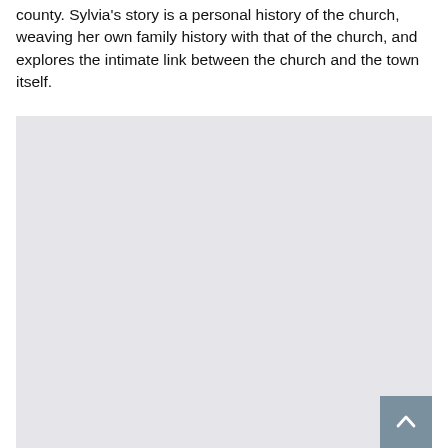county. Sylvia's story is a personal history of the church, weaving her own family history with that of the church, and explores the intimate link between the church and the town itself.
[Figure (photo): A large light grey placeholder image rectangle occupying the lower portion of the page, with a scroll-to-top button (dark blue-grey square with an upward arrow) in the bottom-right corner.]